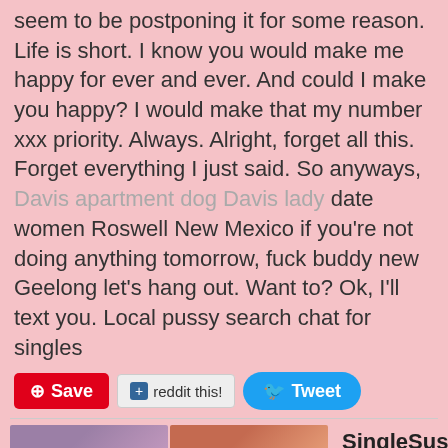seem to be postponing it for some reason. Life is short. I know you would make me happy for ever and ever. And could I make you happy? I would make that my number xxx priority. Always. Alright, forget all this. Forget everything I just said. So anyways, Davis apartment dog Davis lady date women Roswell New Mexico if you're not doing anything tomorrow, fuck buddy new Geelong let's hang out. Want to? Ok, I'll text you. Local pussy search chat for singles
[Figure (screenshot): Social sharing buttons: Pinterest Save, Reddit this!, Tweet]
[Figure (photo): Two profile photos of a woman]
SingleSusanna
Center City, 40812
I ready real dating i need a girl into bikonwhite skin fun
Single married couples date someone younger. First Time
[Figure (photo): Two photos of women at bottom of page]
Hey ladies
naughty